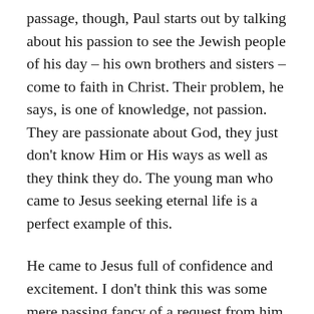passage, though, Paul starts out by talking about his passion to see the Jewish people of his day – his own brothers and sisters – come to faith in Christ. Their problem, he says, is one of knowledge, not passion. They are passionate about God, they just don't know Him or His ways as well as they think they do. The young man who came to Jesus seeking eternal life is a perfect example of this.
He came to Jesus full of confidence and excitement. I don't think this was some mere passing fancy of a request from him. I am convinced that he was genuinely seeking a path to eternal life and a right relationship with God. And he thought he knew how to do it. Yes, we talked last week about the fact that there was something inside that told him there may